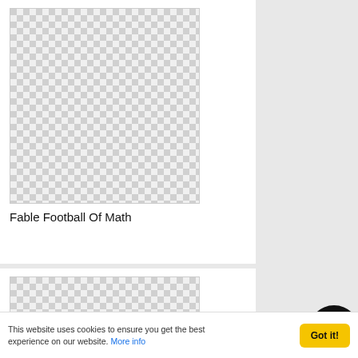[Figure (illustration): Checkerboard placeholder image (transparent/gray squares pattern) for book cover of Fable Football Of Math]
Fable Football Of Math
[Figure (illustration): Checkerboard placeholder image (transparent/gray squares pattern) for a second book]
This website uses cookies to ensure you get the best experience on our website. More info
Got it!